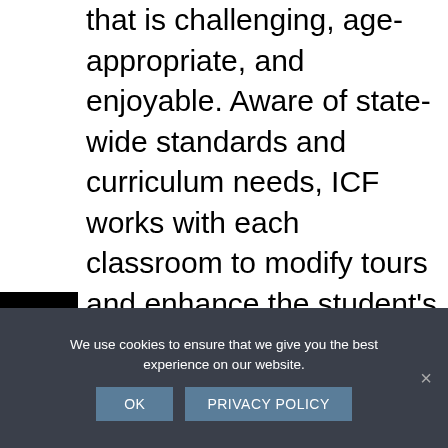that is challenging, age-appropriate, and enjoyable. Aware of state-wide standards and curriculum needs, ICF works with each classroom to modify tours and enhance the student's experience by aligning ICF material to class curriculum or the specific needs and interests of a
[Figure (other): Contrast toggle button (half-filled circle icon) and text size toggle button (tT icon), both black square UI buttons on left side of page]
We use cookies to ensure that we give you the best experience on our website.